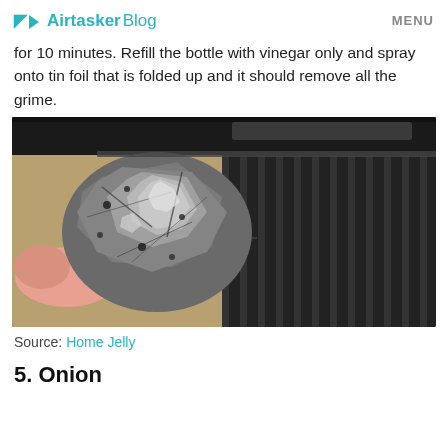Airtasker Blog   MENU
for 10 minutes. Refill the bottle with vinegar only and spray onto tin foil that is folded up and it should remove all the grime.
[Figure (photo): A hand holding a crumpled ball of aluminum/tin foil next to a dark bbq grill grate, showing the foil used for cleaning the grill.]
Source: Home Jelly
5. Onion